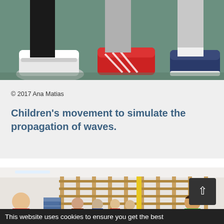[Figure (photo): Close-up of children's feet and shoes on a teal/green gym floor — white sneakers, red Adidas sneakers, and navy athletic shoes visible]
© 2017 Ana Matias
Children's movement to simulate the propagation of waves.
[Figure (photo): Children and adults in a school gymnasium with wooden wall bars and yellow poles; children are gathered in groups, some smiling]
This website uses cookies to ensure you get the best